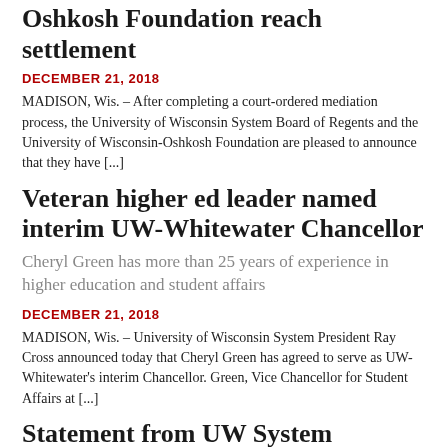Oshkosh Foundation reach settlement
DECEMBER 21, 2018
MADISON, Wis. – After completing a court-ordered mediation process, the University of Wisconsin System Board of Regents and the University of Wisconsin-Oshkosh Foundation are pleased to announce that they have [...]
Veteran higher ed leader named interim UW-Whitewater Chancellor
Cheryl Green has more than 25 years of experience in higher education and student affairs
DECEMBER 21, 2018
MADISON, Wis. – University of Wisconsin System President Ray Cross announced today that Cheryl Green has agreed to serve as UW-Whitewater's interim Chancellor. Green, Vice Chancellor for Student Affairs at [...]
Statement from UW System President